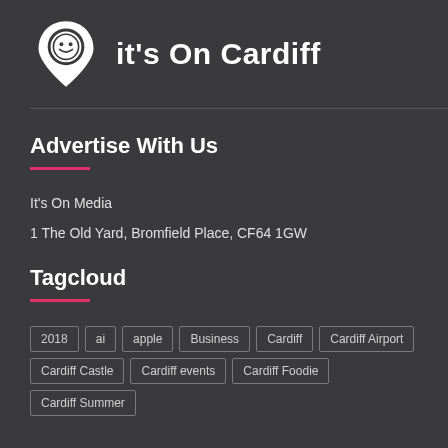[Figure (logo): It's On Cardiff logo — a white map pin icon with a smiley face, followed by bold white text reading 'it's On Cardiff']
Advertise With Us
It's On Media
1 The Old Yard, Bromfield Place, CF64 1GW
Tagcloud
2018
ai
apple
Business
Cardiff
Cardiff Airport
Cardiff Castle
Cardiff events
Cardiff Foodie
Cardiff Summer